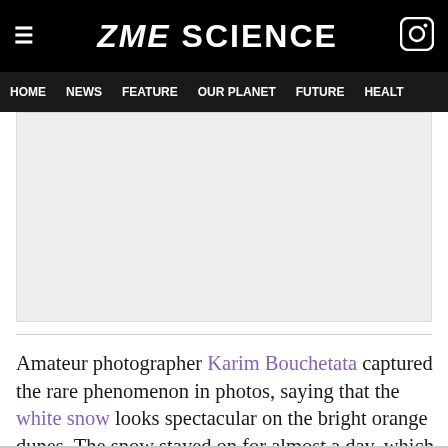ZME SCIENCE
HOME  NEWS  FEATURE  OUR PLANET  FUTURE  HEALT
[Figure (other): Gray placeholder advertisement area]
Amateur photographer Karim Bouchetata captured the rare phenomenon in photos, saying that the white snow looks spectacular on the bright orange dunes. The snow stayed on for almost a day, which is even more impressive.